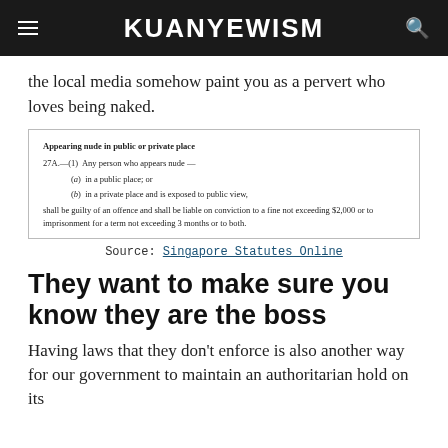KUANYEWISM
the local media somehow paint you as a pervert who loves being naked.
[Figure (screenshot): Screenshot of Singapore statute text: 'Appearing nude in public or private place. 27A.—(1) Any person who appears nude — (a) in a public place; or (b) in a private place and is exposed to public view, shall be guilty of an offence and shall be liable on conviction to a fine not exceeding $2,000 or to imprisonment for a term not exceeding 3 months or to both.']
Source: Singapore Statutes Online
They want to make sure you know they are the boss
Having laws that they don't enforce is also another way for our government to maintain an authoritarian hold on its